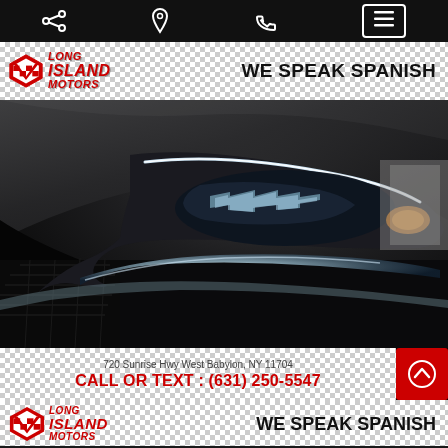Navigation bar with share, location, phone, and menu icons
[Figure (logo): Long Island Motors logo with checkered flag chevron and WE SPEAK SPANISH text - header banner 1]
[Figure (photo): Close-up photo of a dark gray/black car front headlight and hood]
720 Sunrise Hwy West Babylon, NY 11704
CALL OR TEXT : (631) 250-5547
[Figure (logo): Long Island Motors logo with checkered flag chevron and WE SPEAK SPANISH text - header banner 2]
[Figure (photo): Partial photo of car interior/door at bottom of page]